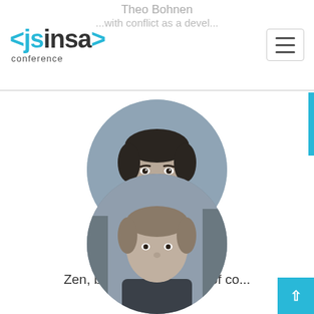[Figure (logo): jsinsa conference logo with angle bracket styling in dark and cyan colors]
Theo Bohnen
...with conflict as a devel...
[Figure (photo): Black and white circular portrait photo of Martin Cronjé, a bearded man in a plaid shirt]
Martin Cronjé
Zen, burnout and the art of co...
[Figure (photo): Black and white circular portrait photo of a second speaker, partially visible at the bottom]